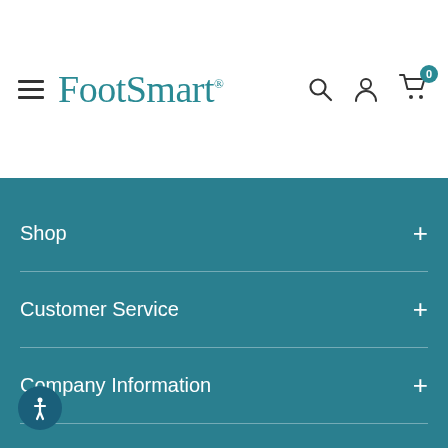FootSmart
Shop +
Customer Service +
Company Information +